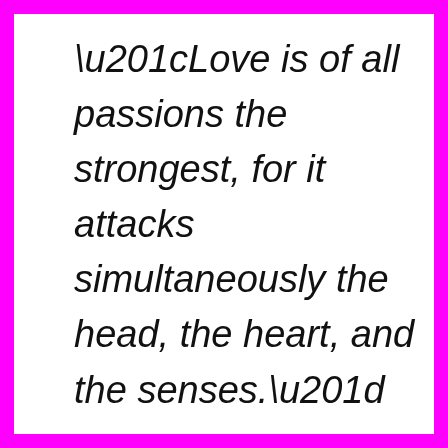“Love is of all passions the strongest, for it attacks simultaneously the head, the heart, and the senses.”